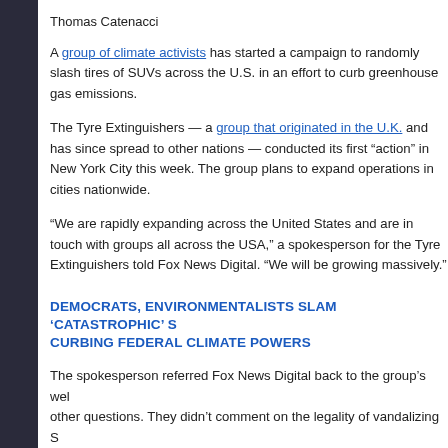Thomas Catenacci
A group of climate activists has started a campaign to randomly slash tires of SUVs across the U.S. in an effort to curb greenhouse gas emissions.
The Tyre Extinguishers — a group that originated in the U.K. and has since spread to other nations — conducted its first “action” in New York City this week. The group plans to expand operations in cities nationwide.
“We are rapidly expanding across the United States and are in touch with groups all across the USA,” a spokesperson for the Tyre Extinguishers told Fox News Digital. “We will be growing massively.”
DEMOCRATS, ENVIRONMENTALISTS SLAM ‘CATASTROPHIC’ SUPREME COURT RULING CURBING FEDERAL CLIMATE POWERS
The spokesperson referred Fox News Digital back to the group’s website when asked several other questions. They didn’t comment on the legality of vandalizing SUVs.
On Tuesday, the Tyre extinguishers celebrated “disarming” 40 SUVs in a Manhattan neighborhood. Participants of the action left flyers on each of the veh